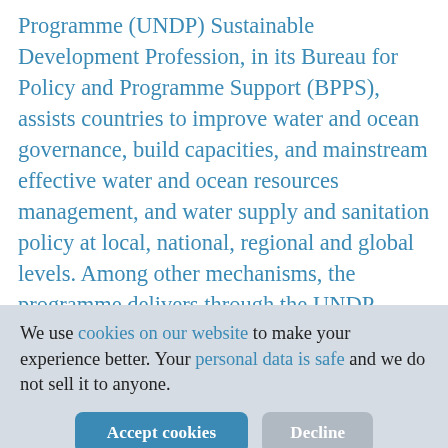Programme (UNDP) Sustainable Development Profession, in its Bureau for Policy and Programme Support (BPPS), assists countries to improve water and ocean governance, build capacities, and mainstream effective water and ocean resources management, and water supply and sanitation policy at local, national, regional and global levels. Among other mechanisms, the programme delivers through the UNDP Water Governance Facility (WGF) at SIWI, GoAL WaSH, and the global network for capacity development towards sustainable water management Cap
We use cookies on our website to make your experience better. Your personal data is safe and we do not sell it to anyone.
[Figure (other): Cookie consent banner with Accept cookies and Decline buttons]